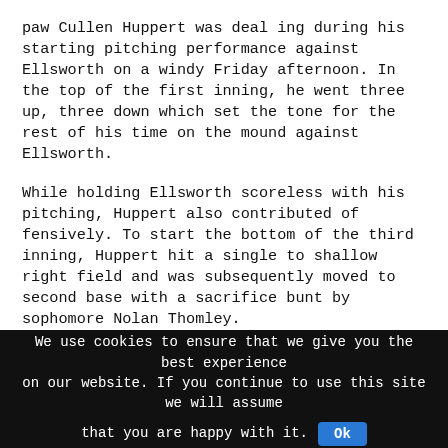paw Cullen Huppert was deal ing during his starting pitching performance against Ellsworth on a windy Friday afternoon. In the top of the first inning, he went three up, three down which set the tone for the rest of his time on the mound against Ellsworth.
While holding Ellsworth scoreless with his pitching, Huppert also contributed of fensively. To start the bottom of the third inning, Huppert hit a single to shallow right field and was subsequently moved to second base with a sacrifice bunt by sophomore Nolan Thomley.
An error on a routine groundball to shortstop moved Huppert to third and senior Justin Syverson on first base, who stole second on the next pitch to get himself into scor
We use cookies to ensure that we give you the best experience on our website. If you continue to use this site we will assume that you are happy with it. Ok